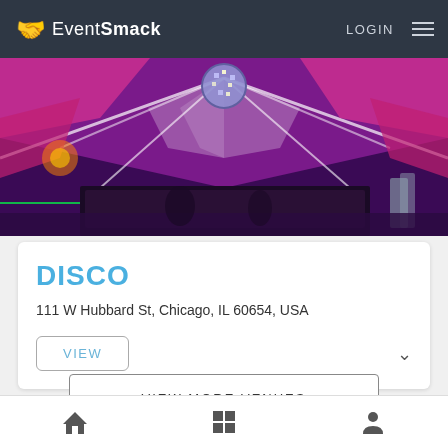EventSmack — LOGIN (navigation header)
[Figure (photo): Interior of Disco nightclub with pink and purple lighting, large mirrored disco ball on ceiling, geometric white ceiling panels, and a DJ booth/bar in the background]
DISCO
111 W Hubbard St, Chicago, IL 60654, USA
VIEW
VIEW MORE VENUES
Home | Grid | Profile (bottom navigation icons)